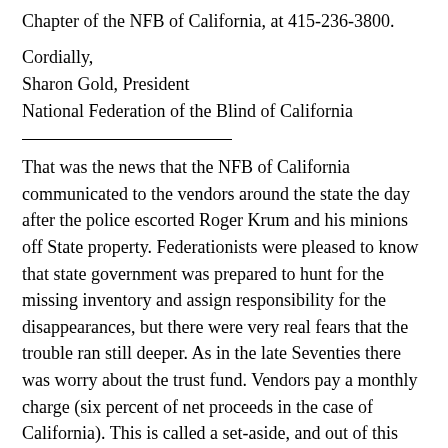Chapter of the NFB of California, at 415-236-3800.
Cordially,
Sharon Gold, President
National Federation of the Blind of California
That was the news that the NFB of California communicated to the vendors around the state the day after the police escorted Roger Krum and his minions off State property. Federationists were pleased to know that state government was prepared to hunt for the missing inventory and assign responsibility for the disappearances, but there were very real fears that the trouble ran still deeper. As in the late Seventies there was worry about the trust fund. Vendors pay a monthly charge (six percent of net proceeds in the case of California). This is called a set-aside, and out of this pool the Department of Rehabilitation pays certain costs of conducting the Business Enterprise Program. With so much else going wrong in the BEP, Vendors were naturally worried about the safety of the trust fund. Blind people began asking whether it wouldn't be prudent to